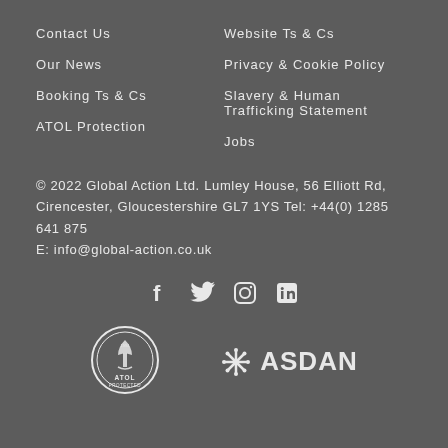Contact Us
Website Ts & Cs
Our News
Privacy & Cookie Policy
Booking Ts & Cs
Slavery & Human Trafficking Statement
ATOL Protection
Jobs
© 2022 Global Action Ltd. Lumley House, 56 Elliott Rd, Cirencester, Gloucestershire GL7 1YS Tel: +44(0) 1285 641 875 E: info@global-action.co.uk
[Figure (infographic): Social media icons: Facebook, Twitter, Instagram, LinkedIn]
[Figure (logo): ATOL Protected circular badge logo]
[Figure (logo): ASDAN logo with star/asterisk icon and ASDAN text]